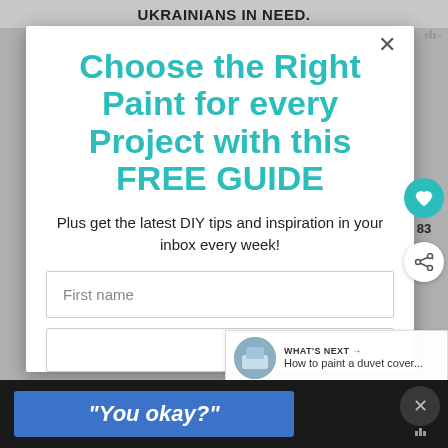UKRAINIANS IN NEED.
Choose the Right Paint for every Project with this FREE GUIDE
Plus get the latest DIY tips and inspiration in your inbox every week!
First name
WHAT'S NEXT → How to paint a duvet cover...
"You okay?"
83